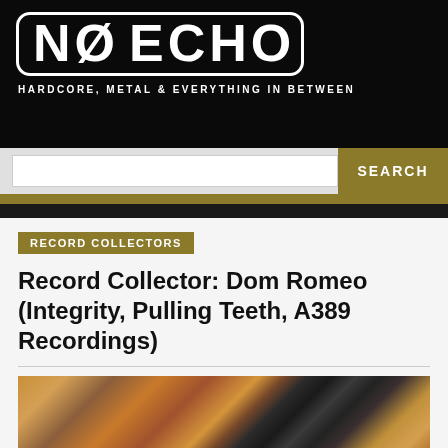NO ECHO — HARDCORE, METAL & EVERYTHING IN BETWEEN
RECORD COLLECTORS
Record Collector: Dom Romeo (Integrity, Pulling Teeth, A389 Recordings)
By Carlos Ramirez | @noechonet | 10.2.2017
Share 1  Tweet 9
[Figure (photo): Photo of vinyl records stacked and stored, partially visible at bottom of page]